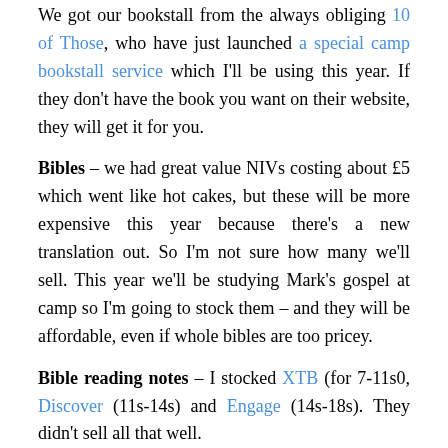We got our bookstall from the always obliging 10 of Those, who have just launched a special camp bookstall service which I'll be using this year. If they don't have the book you want on their website, they will get it for you.
Bibles – we had great value NIVs costing about £5 which went like hot cakes, but these will be more expensive this year because there's a new translation out. So I'm not sure how many we'll sell. This year we'll be studying Mark's gospel at camp so I'm going to stock them – and they will be affordable, even if whole bibles are too pricey.
Bible reading notes – I stocked XTB (for 7-11s0, Discover (11s-14s) and Engage (14s-18s). They didn't sell all that well.
[Figure (photo): Book cover image showing a yellow and black striped publication with 'IPS Special Edition' text visible, held by hands.]